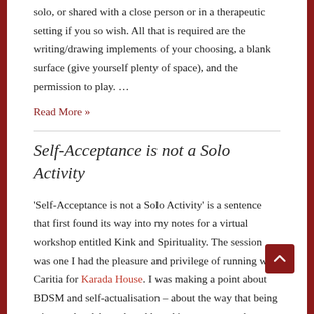solo, or shared with a close person or in a therapeutic setting if you so wish. All that is required are the writing/drawing implements of your choosing, a blank surface (give yourself plenty of space), and the permission to play. …
Read More »
Self-Acceptance is not a Solo Activity
'Self-Acceptance is not a Solo Activity' is a sentence that first found its way into my notes for a virtual workshop entitled Kink and Spirituality. The session was one I had the pleasure and privilege of running with Caritia for Karada House. I was making a point about BDSM and self-actualisation – about the way that being witnessed, celebrated, and loved in response to the aspects of ourselves that kink allows us to inhabit can